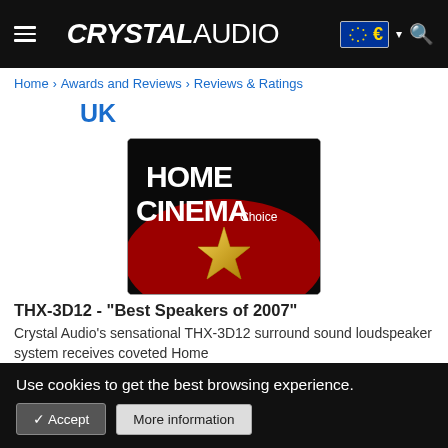CRYSTAL AUDIO
Home > Awards and Reviews > Reviews & Ratings
UK
[Figure (photo): Home Cinema Choice award trophy image with gold star and the text HOME CINEMA Choice on a dark background]
THX-3D12 - "Best Speakers of 2007"
Crystal Audio's sensational THX-3D12 surround sound loudspeaker system receives coveted Home
Use cookies to get the best browsing experience.
✔ Accept   More information